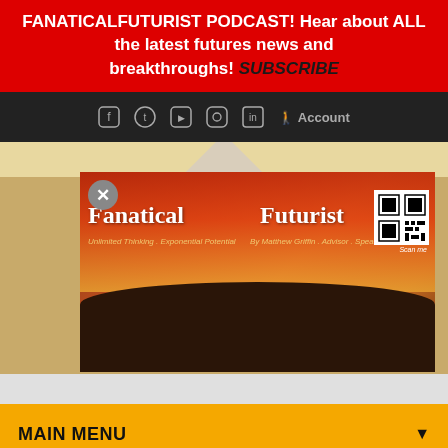FANATICALFUTURIST PODCAST! Hear about ALL the latest futures news and breakthroughs! SUBSCRIBE
[Figure (screenshot): Website navigation bar with social media icons (Facebook, Twitter, YouTube, Instagram, LinkedIn) and Account link on dark background]
[Figure (screenshot): Fanatical Futurist website banner image showing person on mountain with text 'Fanatical Futurist' and 'Unlimited Thinking. Exponential Potential. By Matthew Griffin. Advisor. Speaker' and QR code. Has close (X) button overlay.]
MAIN MENU
1000's of pages of insights and videos, and 100's of exponential technologies. Receive Email from 311...
Share This  ▾  Translate page »  ✕